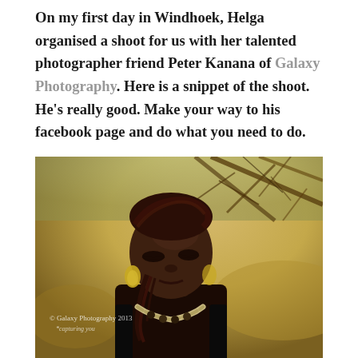On my first day in Windhoek, Helga organised a shoot for us with her talented photographer friend Peter Kanana of Galaxy Photography. Here is a snippet of the shoot. He's really good. Make your way to his facebook page and do what you need to do.
[Figure (photo): Outdoor portrait photograph of a young Black woman with braided hair and gold earrings, looking downward, with dry African bush/tree branches in the background. Watermark reads '© Galaxy Photography 2013 *capturing you']